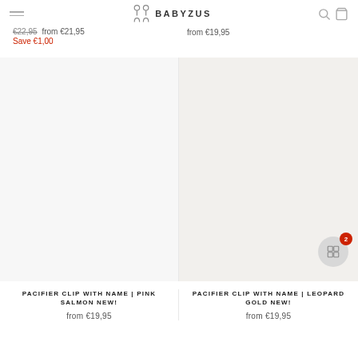BABYZUS
€22,95 from €21,95 Save €1,00
from €19,95
[Figure (photo): Product photo area for Pacifier Clip Pink Salmon (blank/white background)]
[Figure (photo): Product photo area for Pacifier Clip Leopard Gold (blank/light background)]
PACIFIER CLIP WITH NAME | PINK SALMON NEW!
from €19,95
PACIFIER CLIP WITH NAME | LEOPARD GOLD NEW!
from €19,95